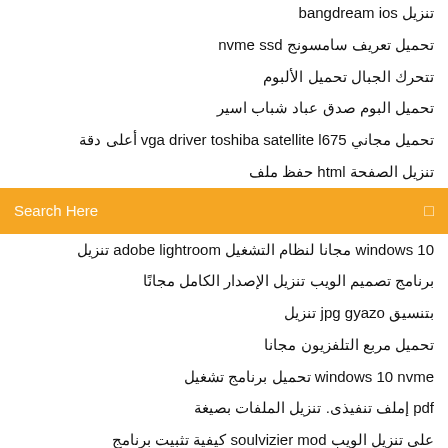تنزيل bangdream ios
تحميل تعريف سامسونج nvme ssd
تتحرك الجبال تحميل الألبوم
تحميل البوم صدق عباد شباب اسير
تحميل مجاني vga driver toshiba satellite l675 أعلى دقة
تنزيل الصفحة html حفظ ملف
[Figure (screenshot): Orange search bar with 'Search Here' placeholder text and a search icon]
windows 10 مجانا لنظام التشغيل adobe lightroom تنزيل
برنامج تصميم الويب تنزيل الإصدار الكامل مجانًا
بتنسيق jpg gyazo تنزيل
تحميل مربع التلفزيون مجانا
windows 10 nvme تحميل برنامج تشغيل
pdf إملف تنفيذى. تنزيل الملفات بصيغة
على تنزيل الويب soulvizier mod كيفية تثبيت برنامج
كيفية تنزيل النغمات على جهاز android
بحث جوجل تحميل للكمبيوتر
androids تنزيل فتحات مجانية على الإنترنت لأجهزة